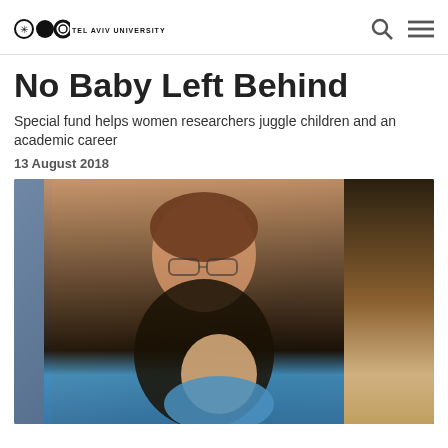TEL AVIV UNIVERSITY
No Baby Left Behind
Special fund helps women researchers juggle children and an academic career
13 August 2018
[Figure (photo): A woman with short brown hair and glasses smiling at camera while holding a baby dressed in blue, at what appears to be an academic conference or event. Background shows brick wall and dark curtain.]